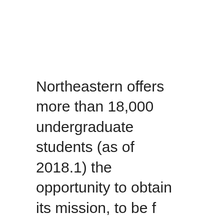Northeastern offers more than 18,000 undergraduate students (as of 2018.1) the opportunity to obtain its mission, to be f